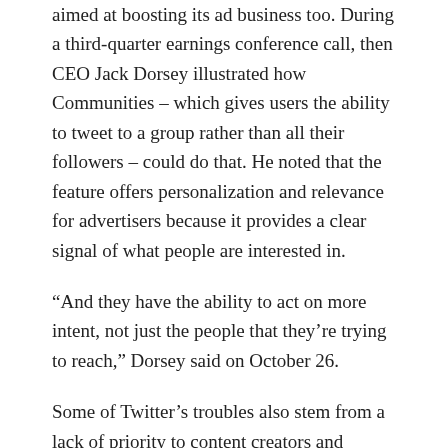aimed at boosting its ad business too. During a third-quarter earnings conference call, then CEO Jack Dorsey illustrated how Communities – which gives users the ability to tweet to a group rather than all their followers – could do that. He noted that the feature offers personalization and relevance for advertisers because it provides a clear signal of what people are interested in.
“And they have the ability to act on more intent, not just the people that they’re trying to reach,” Dorsey said on October 26.
Some of Twitter’s troubles also stem from a lack of priority to content creators and influencers, according to Brian Honigman. Other platforms have been more active in supporting them since they attract engaged users and are shaping the overall experience on social media.
“They haven’t supported creators in a big, meaningful way,” said Honigman, a marketing consultant who focuses on social media and a professor at Kellner School of